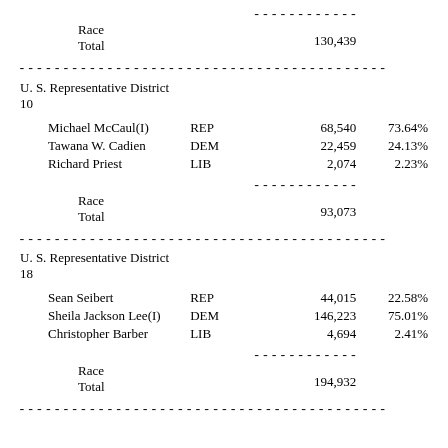| Name | Party | Votes | Pct |
| --- | --- | --- | --- |
| (dashes) |  | ------------ |  |
| Race Total |  | 130,439 |  |
| (separator) |  |  |  |
| U. S. Representative District 10 |  |  |  |
| Michael McCaul(I) | REP | 68,540 | 73.64% |
| Tawana W. Cadien | DEM | 22,459 | 24.13% |
| Richard Priest | LIB | 2,074 | 2.23% |
| (dashes) |  | ------------ |  |
| Race Total |  | 93,073 |  |
| (separator) |  |  |  |
| U. S. Representative District 18 |  |  |  |
| Sean Seibert | REP | 44,015 | 22.58% |
| Sheila Jackson Lee(I) | DEM | 146,223 | 75.01% |
| Christopher Barber | LIB | 4,694 | 2.41% |
| (dashes) |  | ------------ |  |
| Race Total |  | 194,932 |  |
| (separator) |  |  |  |